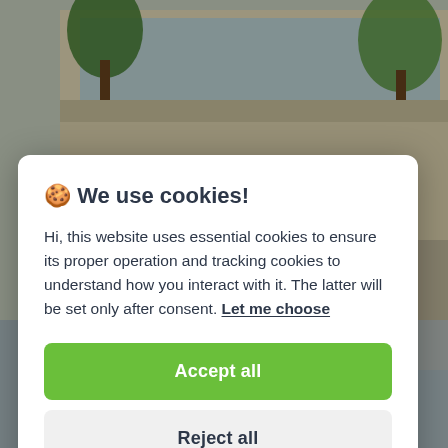[Figure (photo): Background photograph of a building exterior with trees visible, partially obscured by a white modal dialog overlay.]
🍪 We use cookies!
Hi, this website uses essential cookies to ensure its proper operation and tracking cookies to understand how you interact with it. The latter will be set only after consent. Let me choose
Accept all
Reject all